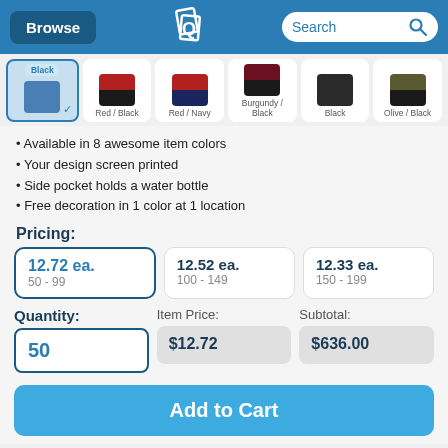Browse | [Logo] | Search
[Figure (screenshot): Color swatch selector row showing Black (selected), Red/Black, Red/Navy, Burgundy/Black, Black, Olive/Black swatches]
Available in 8 awesome item colors
Your design screen printed
Side pocket holds a water bottle
Free decoration in 1 color at 1 location
Pricing:
| Price | Quantity Range |
| --- | --- |
| 12.72 ea. | 50 - 99 |
| 12.52 ea. | 100 - 149 |
| 12.33 ea. | 150 - 199 |
Quantity: 50   Item Price: $12.72   Subtotal: $636.00
Add to Cart